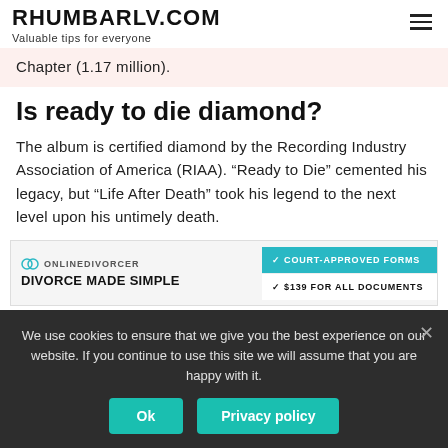RHUMBARLV.COM
Valuable tips for everyone
Chapter (1.17 million).
Is ready to die diamond?
The album is certified diamond by the Recording Industry Association of America (RIAA). “Ready to Die” cemented his legacy, but “Life After Death” took his legend to the next level upon his untimely death.
[Figure (other): Advertisement banner for OnlineDivorcer: DIVORCE MADE SIMPLE with teal buttons: COURT-APPROVED FORMS and $139 FOR ALL DOCUMENTS]
We use cookies to ensure that we give you the best experience on our website. If you continue to use this site we will assume that you are happy with it.